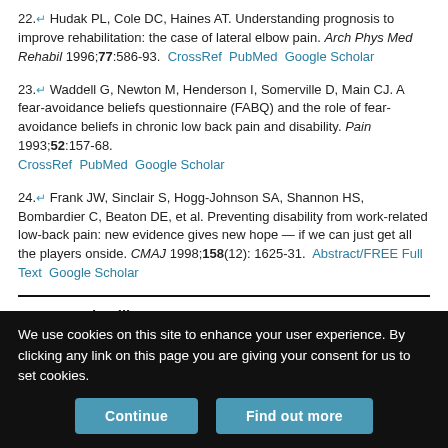22. Hudak PL, Cole DC, Haines AT. Understanding prognosis to improve rehabilitation: the case of lateral elbow pain. Arch Phys Med Rehabil 1996;77:586-93. CrossRef PubMed Google Scholar
23. Waddell G, Newton M, Henderson I, Somerville D, Main CJ. A fear-avoidance beliefs questionnaire (FABQ) and the role of fear-avoidance beliefs in chronic low back pain and disability. Pain 1993;52:157-68. CrossRef PubMed Google Scholar
24. Frank JW, Sinclair S, Hogg-Johnson SA, Shannon HS, Bombardier C, Beaton DE, et al. Preventing disability from work-related low-back pain: new evidence gives new hope — if we can just get all the players onside. CMAJ 1998;158(12): 1625-31. Abstract/FREE Full Text Google Scholar
You may also like
We use cookies on this site to enhance your user experience. By clicking any link on this page you are giving your consent for us to set cookies.